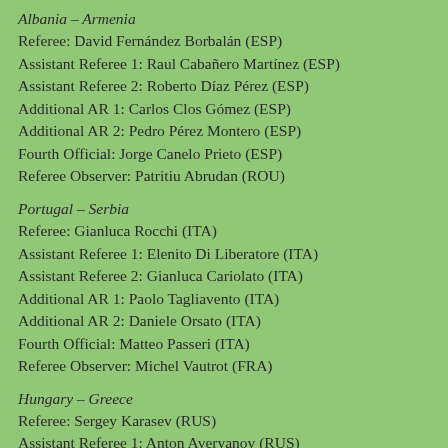Albania – Armenia
Referee: David Fernández Borbalán (ESP)
Assistant Referee 1: Raul Cabañero Martínez (ESP)
Assistant Referee 2: Roberto Díaz Pérez (ESP)
Additional AR 1: Carlos Clos Gómez (ESP)
Additional AR 2: Pedro Pérez Montero (ESP)
Fourth Official: Jorge Canelo Prieto (ESP)
Referee Observer: Patritiu Abrudan (ROU)
Portugal – Serbia
Referee: Gianluca Rocchi (ITA)
Assistant Referee 1: Elenito Di Liberatore (ITA)
Assistant Referee 2: Gianluca Cariolato (ITA)
Additional AR 1: Paolo Tagliavento (ITA)
Additional AR 2: Daniele Orsato (ITA)
Fourth Official: Matteo Passeri (ITA)
Referee Observer: Michel Vautrot (FRA)
Hungary – Greece
Referee: Sergey Karasev (RUS)
Assistant Referee 1: Anton Averyanov (RUS)
Assistant Referee 2: Tikhon Kalugin (RUS)
Additional AR 1: Sergey Ivanovskiy (RUS)